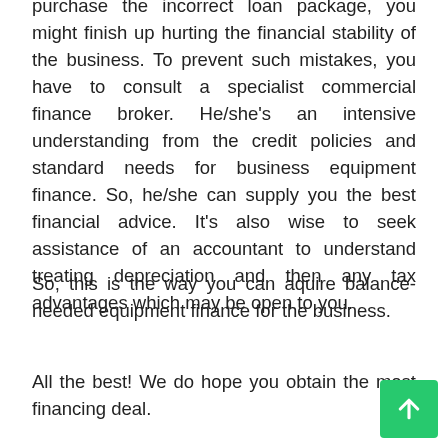purchase the incorrect loan package, you might finish up hurting the financial stability of the business. To prevent such mistakes, you have to consult a specialist commercial finance broker. He/she's an intensive understanding from the credit policies and standard needs for business equipment finance. So, he/she can supply you the best financial advice. It's also wise to seek assistance of an accountant to understand treating depreciation and then any tax advantages which may be open to you.
So, this is the way you can aquire balance-needed equipment finance for the business.
All the best! We do hope you obtain the most favorable financing deal.